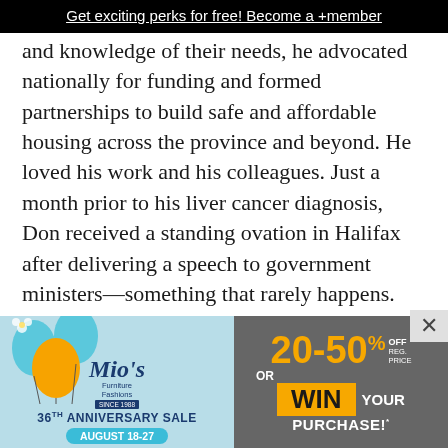Get exciting perks for free! Become a +member
and knowledge of their needs, he advocated nationally for funding and formed partnerships to build safe and affordable housing across the province and beyond. He loved his work and his colleagues. Just a month prior to his liver cancer diagnosis, Don received a standing ovation in Halifax after delivering a speech to government ministers—something that rarely happens.
He was a founding member of the Chartered Institute of Housing Canada and Executive member of International Housing Partnerships.
It was only at camp that he relaxed, taking in the
[Figure (advertisement): Mio's Furniture Fashions 36th Anniversary Sale advertisement showing 20-50% off or Win Your Purchase, August 18-27]